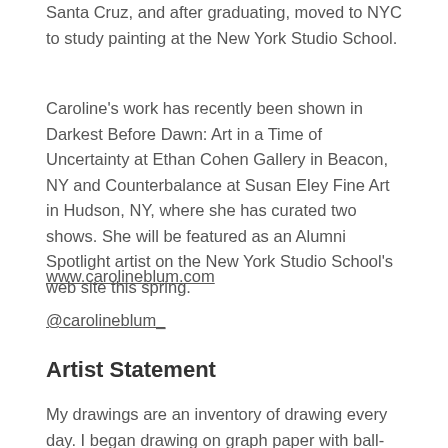Santa Cruz, and after graduating, moved to NYC to study painting at the New York Studio School.
Caroline's work has recently been shown in Darkest Before Dawn: Art in a Time of Uncertainty at Ethan Cohen Gallery in Beacon, NY and Counterbalance at Susan Eley Fine Art in Hudson, NY, where she has curated two shows. She will be featured as an Alumni Spotlight artist on the New York Studio School's web site this spring.
www.carolineblum.com
@carolineblum_
Artist Statement
My drawings are an inventory of drawing every day. I began drawing on graph paper with ball-point pens in 2017. I wanted to make a drawing a day of observations, places and ideas. When I